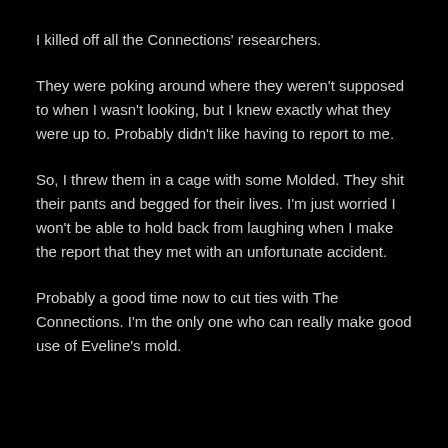I killed off all the Connections' researchers.
They were poking around where they weren't supposed to when I wasn't looking, but I knew exactly what they were up to. Probably didn't like having to report to me.
So, I threw them in a cage with some Molded. They shit their pants and begged for their lives. I'm just worried I won't be able to hold back from laughing when I make the report that they met with an unfortunate accident.
Probably a good time now to cut ties with The Connections. I'm the only one who can really make good use of Eveline's mold.